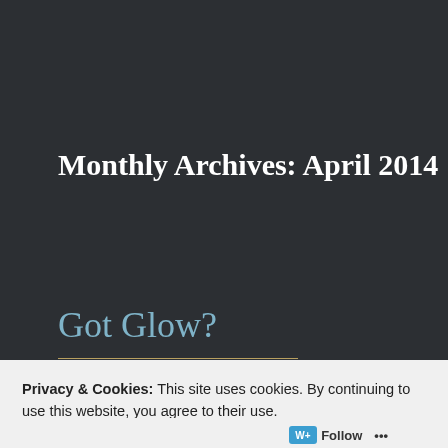Monthly Archives: April 2014
Got Glow?
Have you ever met someone who seems to radiate light?
Privacy & Cookies: This site uses cookies. By continuing to use this website, you agree to their use.
To find out more, including how to control cookies, see here: Cookie Policy
Close and accept